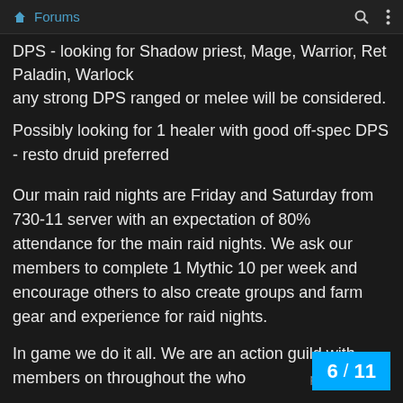Forums
DPS - looking for Shadow priest, Mage, Warrior, Ret Paladin, Warlock
any strong DPS ranged or melee will be considered.
Possibly looking for 1 healer with good off-spec DPS - resto druid preferred
Our main raid nights are Friday and Saturday from 730-11 server with an expectation of 80% attendance for the main raid nights. We ask our members to complete 1 Mythic 10 per week and encourage others to also create groups and farm gear and experience for raid nights.
In game we do it all. We are an act[ive guild with] members on throughout the who[le day...]